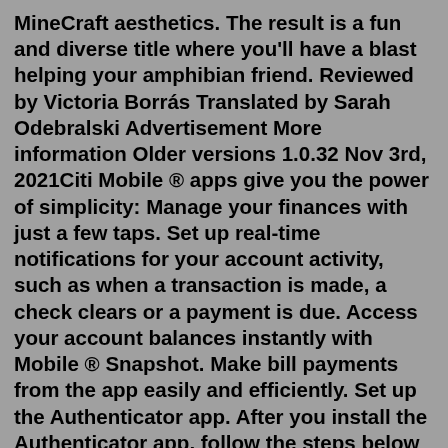MineCraft aesthetics. The result is a fun and diverse title where you'll have a blast helping your amphibian friend. Reviewed by Victoria Borrás Translated by Sarah Odebralski Advertisement More information Older versions 1.0.32 Nov 3rd, 2021Citi Mobile ® apps give you the power of simplicity: Manage your finances with just a few taps. Set up real-time notifications for your account activity, such as when a transaction is made, a check clears or a payment is due. Access your account balances instantly with Mobile ® Snapshot. Make bill payments from the app easily and efficiently. Set up the Authenticator app. After you install the Authenticator app, follow the steps below to add your account: Open the Authenticator app. Select (+) in the upper right corner. Point your camera at the QR code or follow the instructions provided in your account settings. After your account appears in your Authenticator app, you can use the ... Rumble Video Battles. The FREE Rumble app is a fun and straightforward way to ...